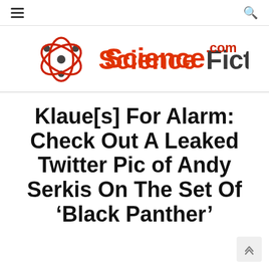ScienceFiction.com — navigation header with hamburger menu and search icon
[Figure (logo): ScienceFiction.com logo with atom icon and red/dark stylized text]
Klaue[s] For Alarm: Check Out A Leaked Twitter Pic of Andy Serkis On The Set Of ‘Black Panther’